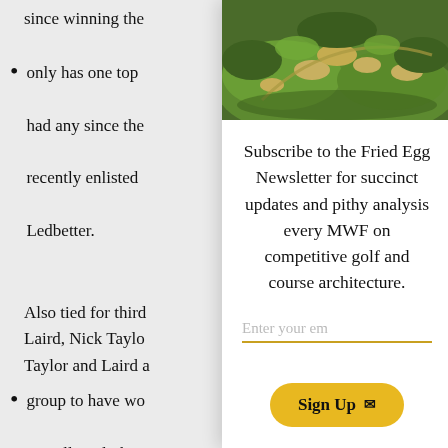since winning the
only has one top … had any since the … recently enlisted … Ledbetter.
Also tied for third … Laird, Nick Taylo … Taylor and Laird a …
group to have wo … Frittelli and Shen … players.
[Figure (photo): Aerial view of a golf course with sand bunkers and green fairways]
Subscribe to the Fried Egg Newsletter for succinct updates and pithy analysis every MWF on competitive golf and course architecture.
Enter your em